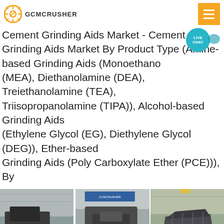GCMCrusher
Cement Grinding Aids Market - Cement Grinding Aids Market By Product Type (Amine-based Grinding Aids (Monoethanolamine (MEA), Diethanolamine (DEA), Treiethanolamine (TEA), Triisopropanolamine (TIPA)), Alcohol-based Grinding Aids (Ethylene Glycol (EG), Diethylene Glycol (DEG)), Ether-based Grinding Aids (Poly Carboxylate Ether (PCE))), By
[Figure (photo): Three industrial crushing/grinding machines in a factory setting, shown side by side.]
SAFETY DATA SHEET
Get a Quote
WhatsApp